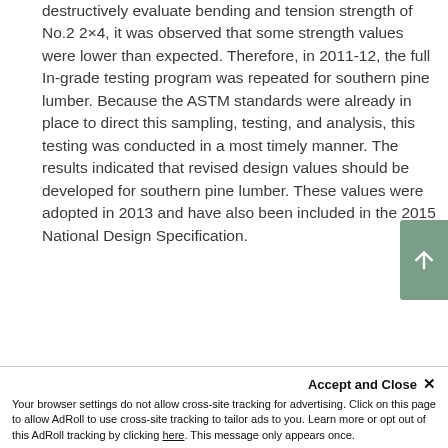destructively evaluate bending and tension strength of No.2 2×4, it was observed that some strength values were lower than expected. Therefore, in 2011-12, the full In-grade testing program was repeated for southern pine lumber. Because the ASTM standards were already in place to direct this sampling, testing, and analysis, this testing was conducted in a most timely manner. The results indicated that revised design values should be developed for southern pine lumber. These values were adopted in 2013 and have also been included in the 2015 National Design Specification.
SPIB has since altered their monitoring...
Accept and Close ×
Your browser settings do not allow cross-site tracking for advertising. Click on this page to allow AdRoll to use cross-site tracking to tailor ads to you. Learn more or opt out of this AdRoll tracking by clicking here. This message only appears once.